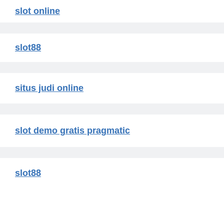slot online
slot88
situs judi online
slot demo gratis pragmatic
slot88